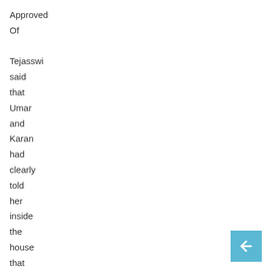Approved
Of

Tejasswi
said
that
Umar
and
Karan
had
clearly
told
her
inside
the
house
that